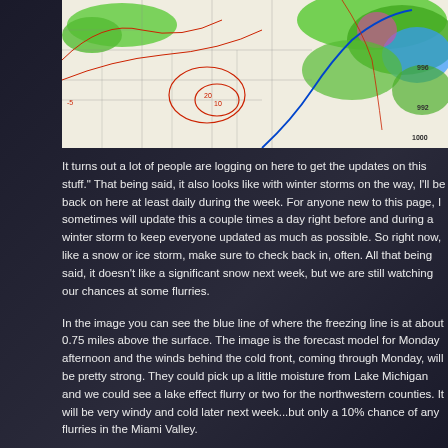[Figure (map): Weather forecast map showing the contiguous United States with isobars (red contour lines), a blue cold front line, and green/blue/pink precipitation shading concentrated in the northeastern and northwestern regions. Pressure values like 1000, 996, 992 visible on right side.]
It turns out a lot of people are logging on here to get the updates on this stuff." That being said, it also looks like with winter storms on the way, I'll be back on here at least daily during the week. For anyone new to this page, I sometimes will update this a couple times a day right before and during a winter storm to keep everyone updated as much as possible. So right now, like a snow or ice storm, make sure to check back in, often. All that being said, it doesn't look like a significant snow next week, but we are still watching our chances at some flurries.
In the image you can see the blue line of where the freezing level is at about 0.75 miles above the surface. The image is the forecast model for Monday afternoon and the winds behind the cold front, coming through Monday, will be pretty strong. They could pick up a little moisture from Lake Michigan and we could see a lake effect flurry or two for the northwestern counties. It will be very windy and cold later next week...but only a 10% chance of any flurries in the Miami Valley.